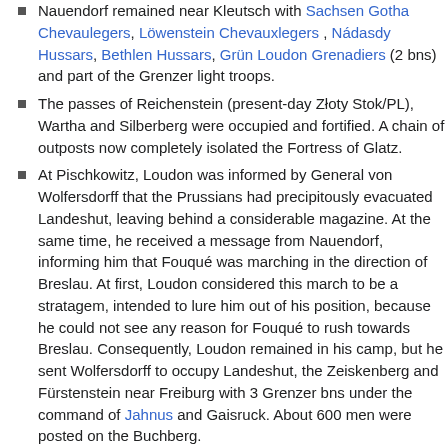Nauendorf remained near Kleutsch with Sachsen Gotha Chevaulegers, Löwenstein Chevauxlegers, Nádasdy Hussars, Bethlen Hussars, Grün Loudon Grenadiers (2 bns) and part of the Grenzer light troops.
The passes of Reichenstein (present-day Złoty Stok/PL), Wartha and Silberberg were occupied and fortified. A chain of outposts now completely isolated the Fortress of Glatz.
At Pischkowitz, Loudon was informed by General von Wolfersdorff that the Prussians had precipitously evacuated Landeshut, leaving behind a considerable magazine. At the same time, he received a message from Nauendorf, informing him that Fouqué was marching in the direction of Breslau. At first, Loudon considered this march to be a stratagem, intended to lure him out of his position, because he could not see any reason for Fouqué to rush towards Breslau. Consequently, Loudon remained in his camp, but he sent Wolfersdorff to occupy Landeshut, the Zeiskenberg and Fürstenstein near Freiburg with 3 Grenzer bns under the command of Jahnus and Gaisruck. About 600 men were posted on the Buchberg.
Prussians
Fouqué set off from Würben and marched to Rommenau (present-day Romnów/PL), north of Canth, to cover Breslau. On his way, Fouqué received the answer of Prince Heinrich to his request for assistance. Not only did the prince put 6 bns from Goltz's